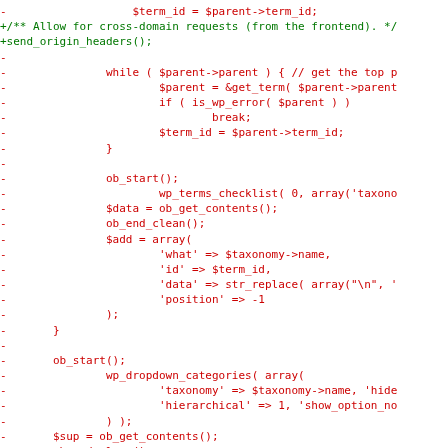[Figure (screenshot): Code diff showing PHP code changes. Lines prefixed with '-' are shown in red (removed lines) and lines prefixed with '+' are shown in green (added lines). The code includes PHP fragments related to term_id, cross-domain requests, send_origin_headers, while loops, ob_start, wp_terms_checklist, Sdata, ob_get_contents, ob_end_clean, Sadd array with what/id/data/position keys, ob_start, wp_dropdown_categories with taxonomy/hierarchical/show_option_no parameters, Ssup, ob_end_clean, and Sadd supplemental array.]